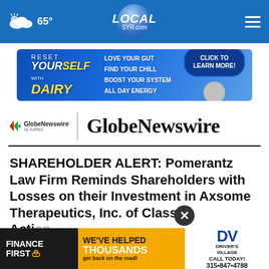65° LOCALsyr.com
[Figure (screenshot): Advertisement banner: Reset Yourself with Dairy - Love Your Gut, Find Your Chill, Boost Your System, All Day Energy. Click to Learn More button.]
[Figure (logo): GlobeNewswire by notified logo with large GlobeNewswire text]
SHAREHOLDER ALERT: Pomerantz Law Firm Reminds Shareholders with Losses on their Investment in Axsome Therapeutics, Inc. of Class Action Deadline
[Figure (screenshot): Advertisement banner: Finance First - We've Helped Thousands get back on the road! Driver's Village Call Today! 315-847-4788]